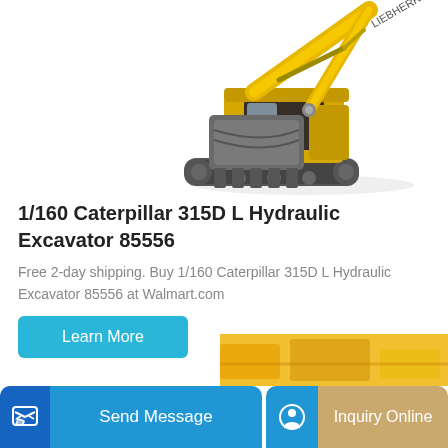[Figure (photo): Yellow hydraulic excavator (Caterpillar 315D L) with grey bucket attachment on white background]
1/160 Caterpillar 315D L Hydraulic Excavator 85556
Free 2-day shipping. Buy 1/160 Caterpillar 315D L Hydraulic Excavator 85556 at Walmart.com
Learn More
Send Message
Inquiry Online
[Figure (photo): Partial image of yellow construction equipment visible at bottom right]